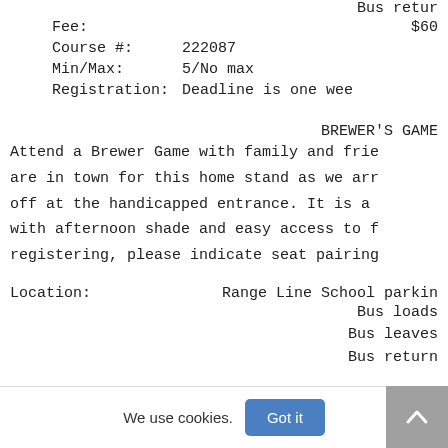Bus retur
Fee:   $60
Course #:   222087
Min/Max:   5/No max
Registration:   Deadline is one wee
BREWER'S GAME
Attend a Brewer Game with family and frie are in town for this home stand as we arr off at the handicapped entrance. It is a with afternoon shade and easy access to f registering, please indicate seat pairing
Location:   Range Line School parkin
Bus loads
Bus leaves
Bus return